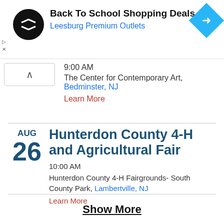[Figure (screenshot): Ad banner with circular black logo with white arrows, text 'Back To School Shopping Deals' and 'Leesburg Premium Outlets' in blue, and a blue diamond navigation icon on the right]
9:00 AM
The Center for Contemporary Art,
Bedminster, NJ
Learn More
AUG
26
Hunterdon County 4-H and Agricultural Fair
10:00 AM
Hunterdon County 4-H Fairgrounds- South County Park, Lambertville, NJ
Learn More
Show More